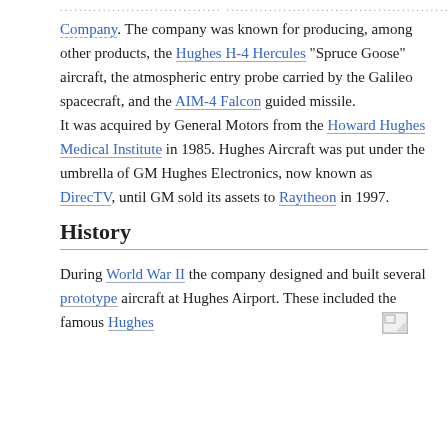Company. The company was known for producing, among other products, the Hughes H-4 Hercules "Spruce Goose" aircraft, the atmospheric entry probe carried by the Galileo spacecraft, and the AIM-4 Falcon guided missile.
It was acquired by General Motors from the Howard Hughes Medical Institute in 1985. Hughes Aircraft was put under the umbrella of GM Hughes Electronics, now known as DirecTV, until GM sold its assets to Raytheon in 1997.
History
During World War II the company designed and built several prototype aircraft at Hughes Airport. These included the famous Hughes